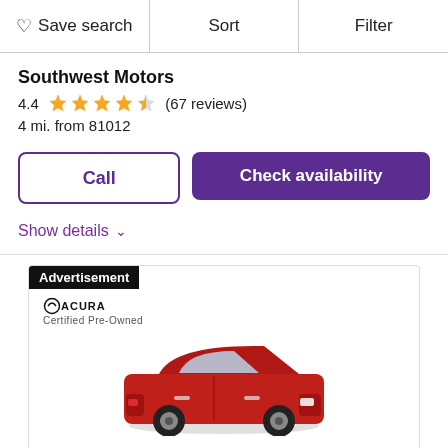♡ Save search | Sort | Filter
Southwest Motors
4.4 ★★★★½ (67 reviews)
4 mi. from 81012
Call
Check availability
Show details ∨
[Figure (photo): Advertisement banner showing Acura Certified Pre-Owned logo and a red 2020 Acura MDX A-Spec SUV]
2020 Acura MDX A-Spec®
Premium Performance SUV